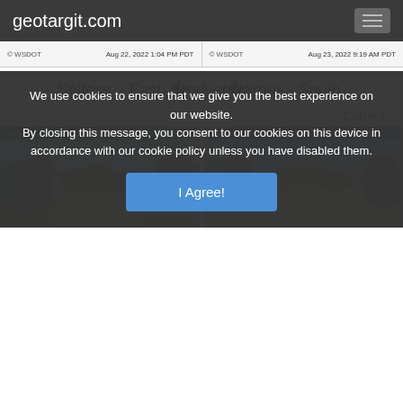geotargit.com
[Figure (screenshot): Two WSDOT traffic camera thumbnail strips. Left: © WSDOT, Aug 22, 2022 1:04 PM PDT. Right: © WSDOT, Aug 23, 2022 9:19 AM PDT]
Selfoss > East: �ndver�arnes - South.
Current
[Figure (photo): Two camera views side by side showing landscape with shrubs, trees and open terrain under blue sky. Left and right panels each show a camera timestamp overlay.]
We use cookies to ensure that we give you the best experience on our website.
By closing this message, you consent to our cookies on this device in accordance with our cookie policy unless you have disabled them.